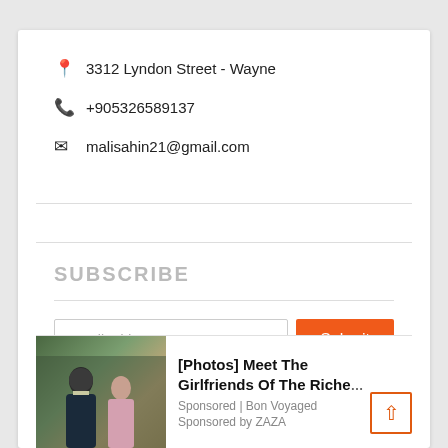📍 3312 Lyndon Street - Wayne
📞 +905326589137
✉ malisahin21@gmail.com
SUBSCRIBE
Email address
[Figure (screenshot): Advertisement: [Photos] Meet The Girlfriends Of The Richest Men. Sponsored by ZAZA via Bon Voyaged. Shows a photo of a couple.]
Sponsored | Bon Voyaged